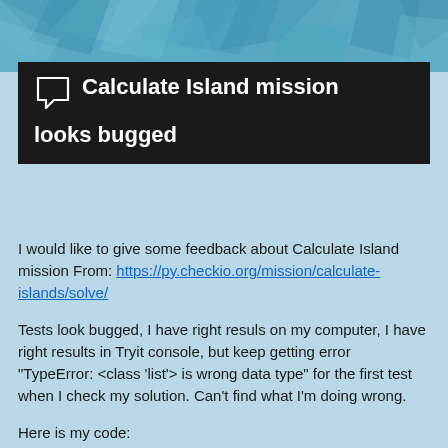[Figure (illustration): Blue geometric polygon pattern background at top of page]
Calculate Island mission looks bugged
I would like to give some feedback about Calculate Island mission From: https://py.checkio.org/mission/calculate-islands/solve/
Tests look bugged, I have right resuls on my computer, I have right results in Tryit console, but keep getting error "TypeError: <class 'list'> is wrong data type" for the first test when I check my solution. Can't find what I'm doing wrong.
Here is my code:
import numpy as np